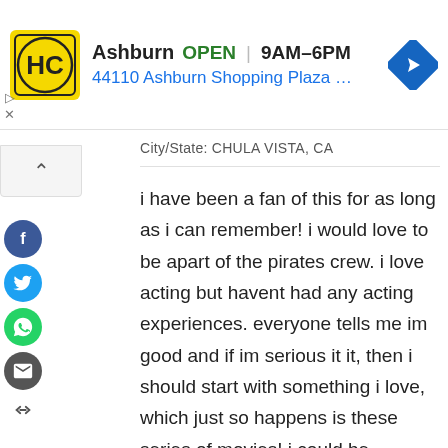[Figure (screenshot): Ad banner showing HC logo in yellow square, Ashburn OPEN 9AM-6PM, address 44110 Ashburn Shopping Plaza 190, A..., with blue navigation arrow icon on right]
City/State: CHULA VISTA, CA
i have been a fan of this for as long as i can remember! i would love to be apart of the pirates crew. i love acting but havent had any acting experiences. everyone tells me im good and if im serious it it, then i should start with something i love, which just so happens is these series of movies! i could be anything, a mermaid, (which i would love to be too) , a pirate, an extra, anything thank